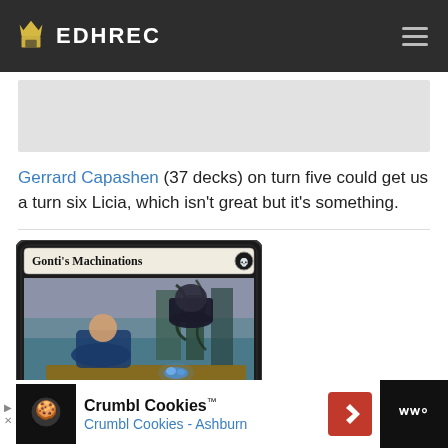EDHREC
[Figure (other): Gray advertisement banner placeholder]
Gerrard Capashen (37 decks) on turn five could get us a turn six Licia, which isn't great but it's something.
[Figure (illustration): Magic: The Gathering card - Gonti's Machinations. Shows two figures at a bar/table in a fantasy setting. Card type: Enchantment.]
[Figure (other): Advertisement banner: Crumbl Cookies - Crumbl Cookies Ashburn]